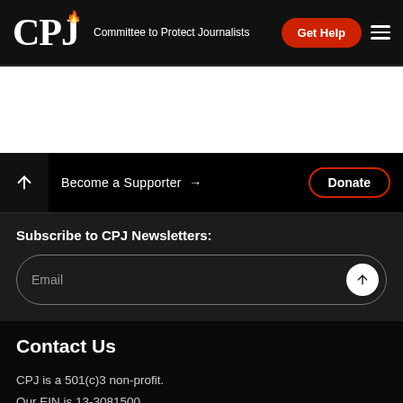CPJ Committee to Protect Journalists
[Figure (screenshot): White content area placeholder]
Become a Supporter → Donate
Subscribe to CPJ Newsletters:
Email
Contact Us
CPJ is a 501(c)3 non-profit.
Our EIN is 13-3081500.
Committee to Protect Journalists